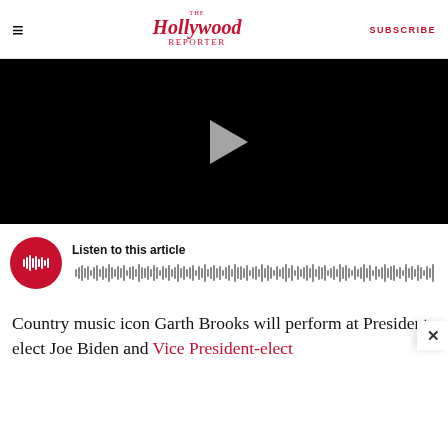The Hollywood Reporter — SUBSCRIBE
[Figure (screenshot): Black video player with gray play button triangle in center]
[Figure (other): Audio player: red circle with waveform icon, 'Listen to this article' label, and waveform bars]
Country music icon Garth Brooks will perform at President-elect Joe Biden and Vice President-elect